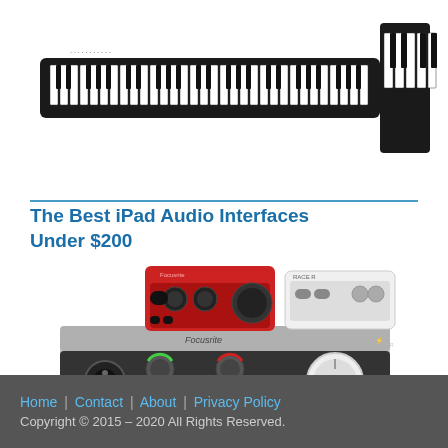[Figure (photo): Two digital piano keyboards — one large black keyboard on the left and a smaller upright keyboard on the right]
[Figure (photo): Audio interfaces including a Focusrite Scarlett 2i2 (red), a white interface unit, and a Focusrite iTrack Solo (silver/black) in the foreground]
The Best iPad Audio Interfaces Under $200
Home | Contact | About | Privacy Policy
Copyright © 2015 – 2020 All Rights Reserved.